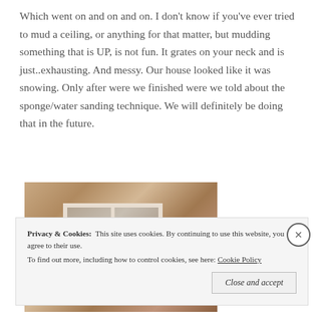Which went on and on and on. I don't know if you've ever tried to mud a ceiling, or anything for that matter, but mudding something that is UP, is not fun. It grates on your neck and is just..exhausting. And messy. Our house looked like it was snowing. Only after were we finished were we told about the sponge/water sanding technique. We will definitely be doing that in the future.
[Figure (photo): Interior photo showing a sliding glass door with white frame and curtain/valance, surrounded by wood-toned walls]
Privacy & Cookies: This site uses cookies. By continuing to use this website, you agree to their use. To find out more, including how to control cookies, see here: Cookie Policy